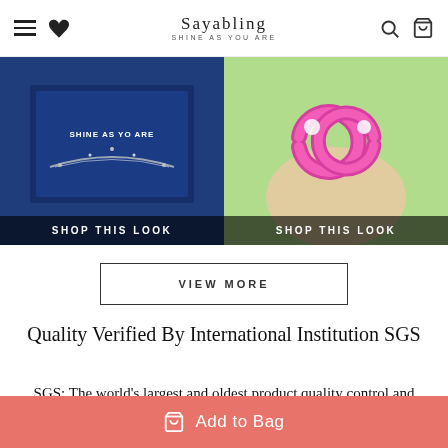Sayabling — Shine As You Are
[Figure (photo): Two product photos side by side: left shows a diamond necklace in a blue box labeled 'Shine As You Are', right shows pink crystal heart-shaped earrings held in a hand]
SHOP THIS LOOK (left image)
SHOP THIS LOOK (right image)
VIEW MORE
Quality Verified By International Institution SGS
SGS: The world's largest and oldest product quality control and technical identification multinational company.
Add to Bag